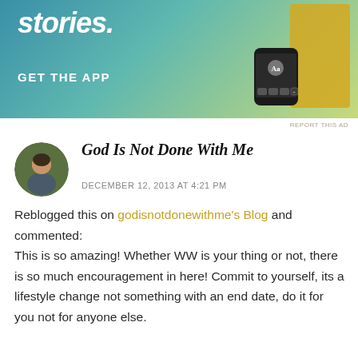[Figure (other): App advertisement banner with gradient background (teal to yellow-green), text 'stories.' and 'GET THE APP', with a phone mockup on the right side]
REPORT THIS AD
God Is Not Done With Me
DECEMBER 12, 2013 AT 4:21 PM
Reblogged this on godisnotdonewithme's Blog and commented:
This is so amazing! Whether WW is your thing or not, there is so much encouragement in here! Commit to yourself, its a lifestyle change not something with an end date, do it for you not for anyone else.